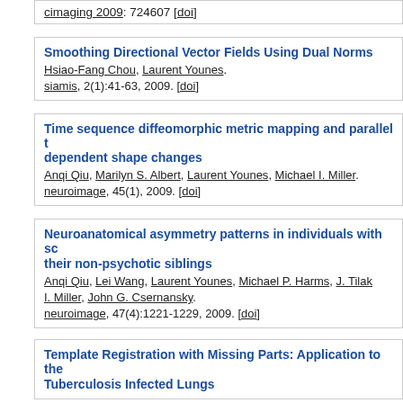cimaging 2009: 724607 [doi]
Smoothing Directional Vector Fields Using Dual Norms
Hsiao-Fang Chou, Laurent Younes.
siamis, 2(1):41-63, 2009. [doi]
Time sequence diffeomorphic metric mapping and parallel t... dependent shape changes
Anqi Qiu, Marilyn S. Albert, Laurent Younes, Michael I. Miller.
neuroimage, 45(1), 2009. [doi]
Neuroanatomical asymmetry patterns in individuals with sc... their non-psychotic siblings
Anqi Qiu, Lei Wang, Laurent Younes, Michael P. Harms, J. Tilak... I. Miller, John G. Csernansky.
neuroimage, 47(4):1221-1229, 2009. [doi]
Template Registration with Missing Parts: Application to the... Tuberculosis Infected Lungs